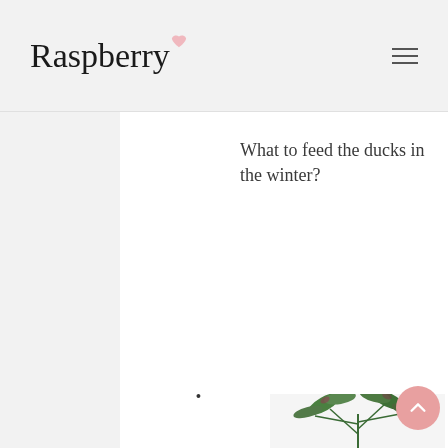Raspberry
What to feed the ducks in the winter?
•
[Figure (photo): Green leafy plant with elongated leaves, partial view from below, against a white/light background]